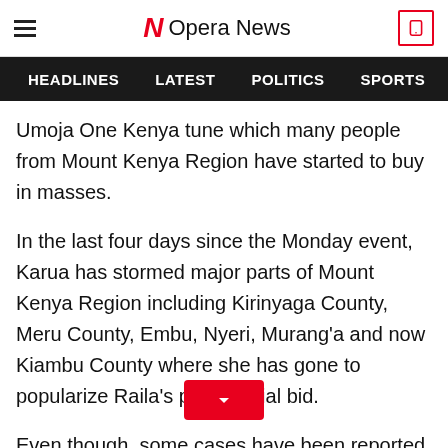Opera News
HEADLINES   LATEST   POLITICS   SPORTS
Umoja One Kenya tune which many people from Mount Kenya Region have started to buy in masses.
In the last four days since the Monday event, Karua has stormed major parts of Mount Kenya Region including Kirinyaga County, Meru County, Embu, Nyeri, Murang'a and now Kiambu County where she has gone to popularize Raila's presidential bid.
Even though, some cases have been reported that she has faces some heckling f…wdy residents in